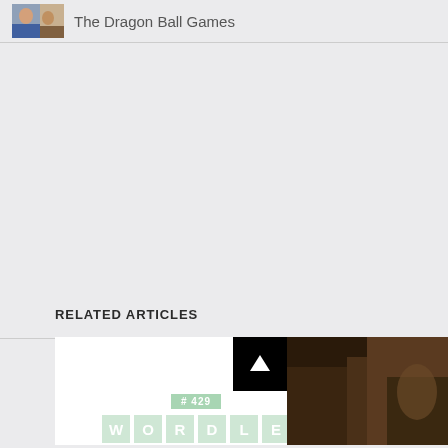The Dragon Ball Games
RELATED ARTICLES
[Figure (screenshot): Wordle puzzle card showing '#429' badge and green letter tiles spelling W-O-R-D-L-E]
[Figure (photo): Dark toned photo, partially visible on the right side]
[Figure (other): Black square button with white upward arrow]